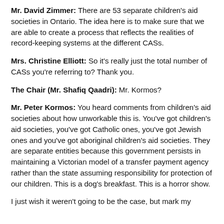Mr. David Zimmer: There are 53 separate children's aid societies in Ontario. The idea here is to make sure that we are able to create a process that reflects the realities of record-keeping systems at the different CASs.
Mrs. Christine Elliott: So it's really just the total number of CASs you're referring to? Thank you.
The Chair (Mr. Shafiq Qaadri): Mr. Kormos?
Mr. Peter Kormos: You heard comments from children's aid societies about how unworkable this is. You've got children's aid societies, you've got Catholic ones, you've got Jewish ones and you've got aboriginal children's aid societies. They are separate entities because this government persists in maintaining a Victorian model of a transfer payment agency rather than the state assuming responsibility for protection of our children. This is a dog's breakfast. This is a horror show.
I just wish it weren't going to be the case, but mark my